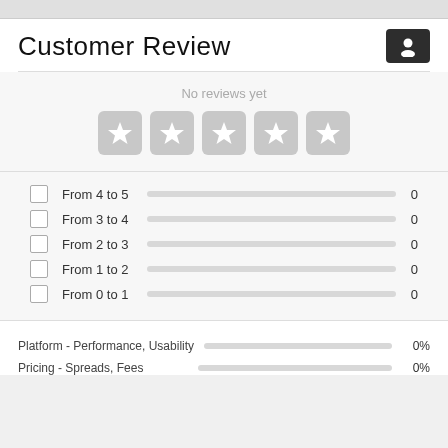Customer Review
No reviews yet
[Figure (other): Five empty star rating boxes in a row, all grey/unrated]
From 4 to 5   0
From 3 to 4   0
From 2 to 3   0
From 1 to 2   0
From 0 to 1   0
Platform - Performance, Usability   0%
Pricing - Spreads, Fees   0%